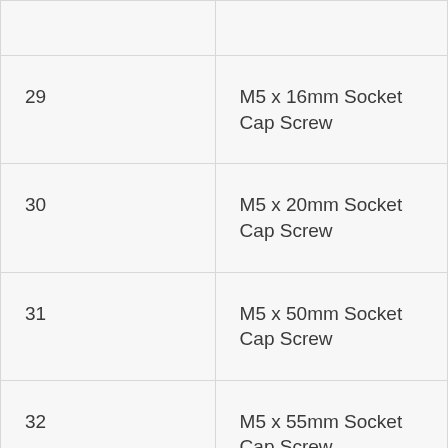| Item No. | Description |
| --- | --- |
|  |  |
| 29 | M5 x 16mm Socket Cap Screw |
| 30 | M5 x 20mm Socket Cap Screw |
| 31 | M5 x 50mm Socket Cap Screw |
| 32 | M5 x 55mm Socket Cap Screw |